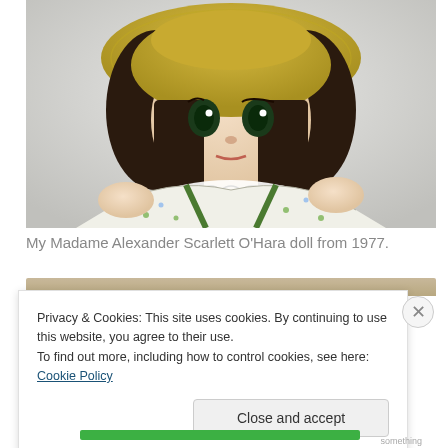[Figure (photo): Close-up photo of a Madame Alexander Scarlett O'Hara doll from 1977, wearing a yellow bonnet, dark brown hair, large green eyes, and a white floral dress with green trim, against a white fabric background.]
My Madame Alexander Scarlett O'Hara doll from 1977.
Privacy & Cookies: This site uses cookies. By continuing to use this website, you agree to their use.
To find out more, including how to control cookies, see here: Cookie Policy
Close and accept